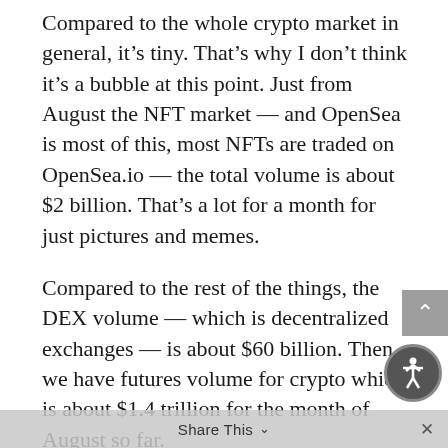Compared to the whole crypto market in general, it's tiny. That's why I don't think it's a bubble at this point. Just from August the NFT market — and OpenSea is most of this, most NFTs are traded on OpenSea.io — the total volume is about $2 billion. That's a lot for a month for just pictures and memes.
Compared to the rest of the things, the DEX volume — which is decentralized exchanges — is about $60 billion. Then we have futures volume for crypto which is about $1.4 trillion for the month of August so far.
When you consider how much money is being traded in the entire crypto market every day, it makes NFTs seem like the current prices aren't that crazy. They can still have a long way to go. There are a lot of coins that have exposure to this. I just recommended one yesterday in Crypto Flash Trader.
Share This